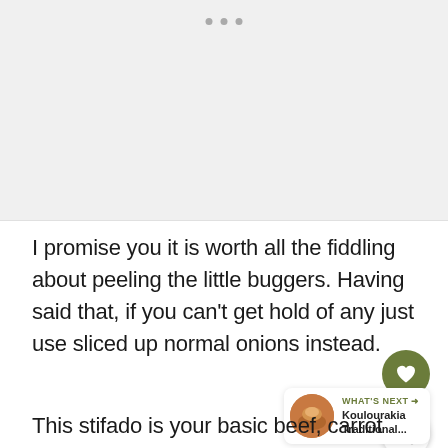[Figure (photo): Light gray placeholder image area at the top of the page with three dots indicating a carousel/slider]
I promise you it is worth all the fiddling about peeling the little buggers. Having said that, if you can't get hold of any just use sliced up normal onions instead.
This stifado is your basic beef, carrot and onion stew recipe. But oh with a difference. And it's